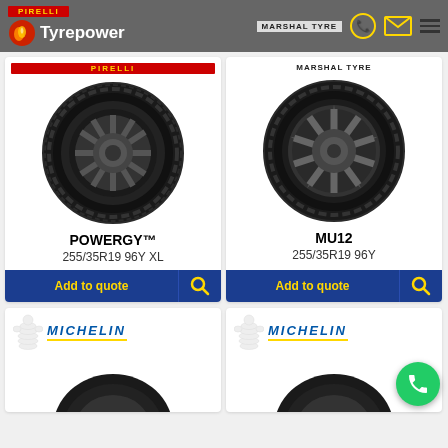[Figure (screenshot): Tyrepower website header with Pirelli and Marshal Tyre branding, navigation icons]
[Figure (photo): Pirelli Powergy tyre product image, black tyre on white background]
POWERGY™
255/35R19 96Y XL
[Figure (photo): Marshal MU12 tyre product image, black tyre on white background]
MU12
255/35R19 96Y
[Figure (logo): Michelin logo with Michelin Man mascot, left card]
[Figure (logo): Michelin logo with Michelin Man mascot, right card]
[Figure (photo): Partial tyre image bottom left Michelin card]
[Figure (photo): Partial tyre image bottom right Michelin card]